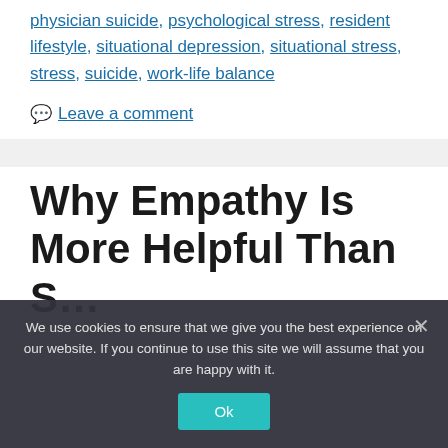physician suicide, psychological stress, resident lifestyle, situational depression, situational stress, stress, suicide, work-life balance
Leave a comment
Why Empathy Is More Helpful Than Sympathy for M...
We use cookies to ensure that we give you the best experience on our website. If you continue to use this site we will assume that you are happy with it.